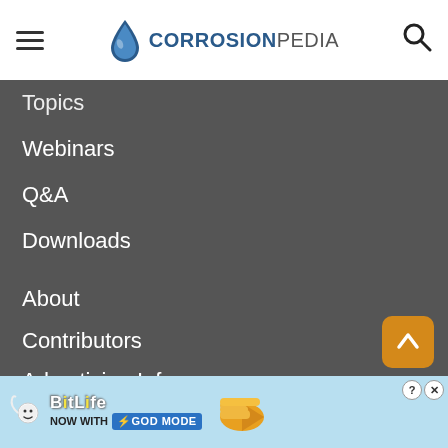CORROSIONPEDIA
Topics
Webinars
Q&A
Downloads
About
Contributors
Advertising Info
Write for Us
Contact Us
Sitemap
[Figure (illustration): BitLife advertisement banner with 'NOW WITH GOD MODE' text and hand pointing finger graphic]
[Figure (illustration): Back to top arrow button (orange rounded square)]